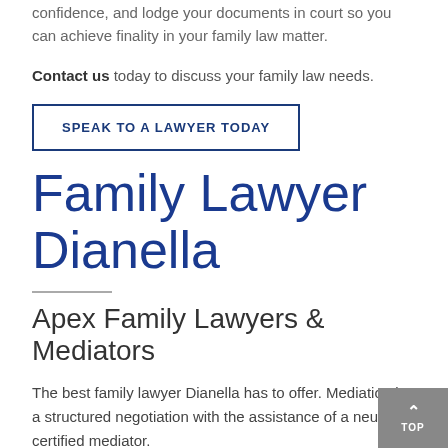confidence, and lodge your documents in court so you can achieve finality in your family law matter.
Contact us today to discuss your family law needs.
SPEAK TO A LAWYER TODAY
Family Lawyer Dianella
Apex Family Lawyers & Mediators
The best family lawyer Dianella has to offer. Mediation is a structured negotiation with the assistance of a neutral certified mediator.